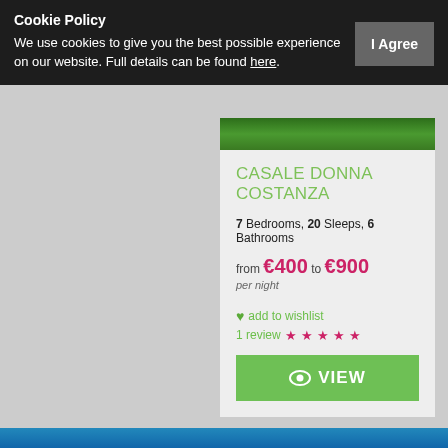Cookie Policy
We use cookies to give you the best possible experience on our website. Full details can be found here.
CASALE DONNA COSTANZA
7 Bedrooms, 20 Sleeps, 6 Bathrooms
from €400 to €900 per night
♥ add to wishlist
1 review ★★★★★
VIEW